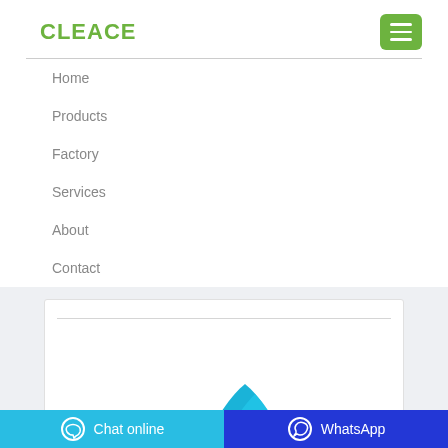CLEACE
Home
Products
Factory
Services
About
Contact
[Figure (photo): Blue wave/ribbon abstract image visible at bottom of white card on light gray background]
Chat online   WhatsApp